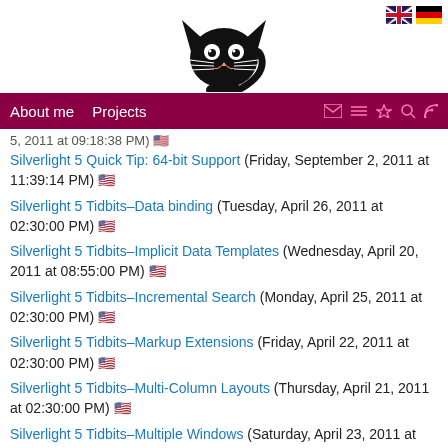[Figure (logo): Black cat logo with big eyes and whiskers]
About me  Projects
Silverlight 5 Quick Tip: 64-bit Support (Friday, September 2, 2011 at 11:39:14 PM) 🇺🇸
Silverlight 5 Tidbits–Data binding (Tuesday, April 26, 2011 at 02:30:00 PM) 🇺🇸
Silverlight 5 Tidbits–Implicit Data Templates (Wednesday, April 20, 2011 at 08:55:00 PM) 🇺🇸
Silverlight 5 Tidbits–Incremental Search (Monday, April 25, 2011 at 02:30:00 PM) 🇺🇸
Silverlight 5 Tidbits–Markup Extensions (Friday, April 22, 2011 at 02:30:00 PM) 🇺🇸
Silverlight 5 Tidbits–Multi-Column Layouts (Thursday, April 21, 2011 at 02:30:00 PM) 🇺🇸
Silverlight 5 Tidbits–Multiple Windows (Saturday, April 23, 2011 at 02:30:00 PM) 🇺🇸
Silverlight 5 Tidbits–Trusted applications (Sunday, April 24, 2011 at 02:30:00 PM) 🇺🇸